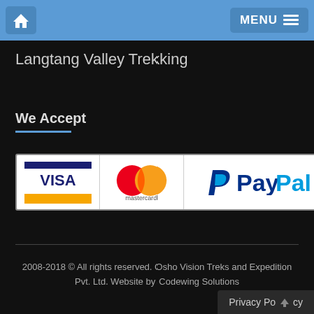Home | MENU
Langtang Valley Trekking
We Accept
[Figure (logo): Payment method logos: Visa, Mastercard, PayPal]
2008-2018 © All rights reserved. Osho Vision Treks and Expedition Pvt. Ltd. Website by Codewing Solutions
Privacy Policy